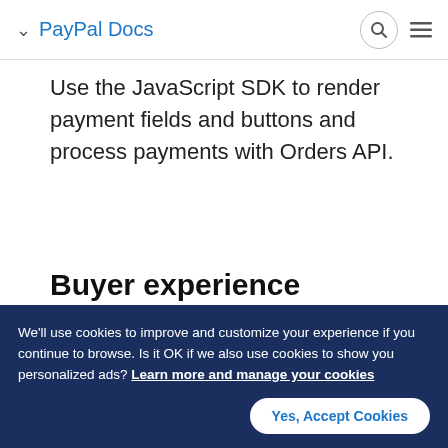PayPal Docs
Use the JavaScript SDK to render payment fields and buttons and process payments with Orders API.
Buyer experience
[Figure (screenshot): PayPal payment button UI with radio button selector showing PayPal logo on light gray background]
We'll use cookies to improve and customize your experience if you continue to browse. Is it OK if we also use cookies to show you personalized ads? Learn more and manage your cookies
Yes, Accept Cookies